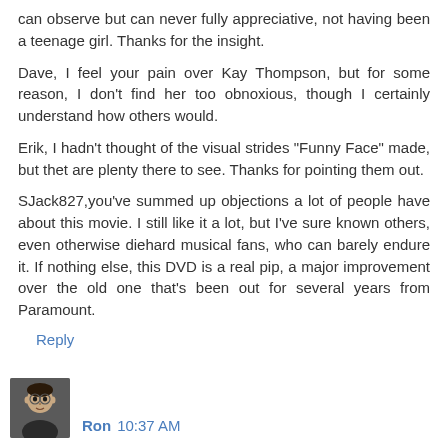can observe but can never fully appreciative, not having been a teenage girl. Thanks for the insight.
Dave, I feel your pain over Kay Thompson, but for some reason, I don't find her too obnoxious, though I certainly understand how others would.
Erik, I hadn't thought of the visual strides "Funny Face" made, but thet are plenty there to see. Thanks for pointing them out.
SJack827,you've summed up objections a lot of people have about this movie. I still like it a lot, but I've sure known others, even otherwise diehard musical fans, who can barely endure it. If nothing else, this DVD is a real pip, a major improvement over the old one that's been out for several years from Paramount.
Reply
Ron 10:37 AM